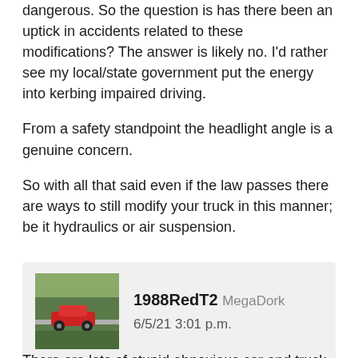dangerous. So the question is has there been an uptick in accidents related to these modifications? The answer is likely no. I'd rather see my local/state government put the energy into kerbing impaired driving.
From a safety standpoint the headlight angle is a genuine concern.
So with all that said even if the law passes there are ways to still modify your truck in this manner; be it hydraulics or air suspension.
1988RedT2  MegaDork
6/5/21 3:01 p.m.
There are lots of stupid obnoxious car and truck mod cults out there.  I don't know if the Carolina Squatters deserve to be singled out, but if I understand their mentality, it will be